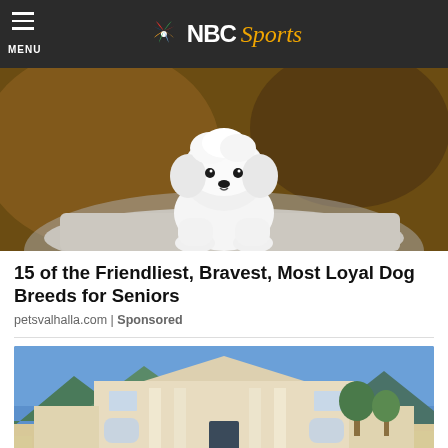MENU | NBC Sports
[Figure (photo): White fluffy small dog (Maltese puppy) sitting on a stone surface, photographed against a warm blurred background]
15 of the Friendliest, Bravest, Most Loyal Dog Breeds for Seniors
petsvalhalla.com | Sponsored
[Figure (photo): Large white neoclassical mansion with columns and grand staircase, set against blue sky with mountains in background]